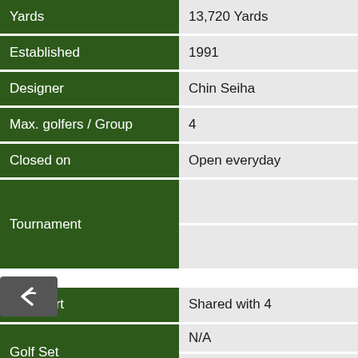| Field | Value |
| --- | --- |
| Yards | 13,720 Yards |
| Established | 1991 |
| Designer | Chin Seiha |
| Max. golfers / Group | 4 |
| Closed on | Open everyday |
| Tournament |  |
| Golf Cart | Shared with 4 |
| Golf Set | N/A
(Excluded TAX) |
| Golf Shoes | N/A
(Excluded TAX) |
| Umbrella | Equipped |
| Driving Range | Yes |